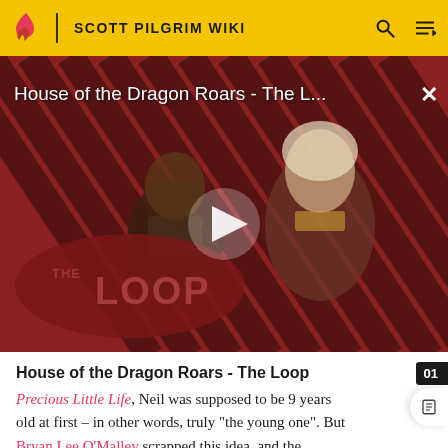SCOTT PILGRIM WIKI
[Figure (screenshot): Video thumbnail for 'House of the Dragon Roars - The Loop' showing two characters from House of the Dragon on a striped red/black background with The Loop logo overlay and a play button in the center.]
House of the Dragon Roars - The Loop
Precious Little Life, Neil was supposed to be 9 years old at first – in other words, truly "the young one". But Bryan Lee O'Malley scrapped this idea, and the concept of "one of the characters being a little kid"